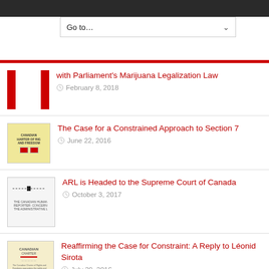In No Certain Terms: The Problem with Parliament's Marijuana Legalization Law — February 8, 2018
The Case for a Constrained Approach to Section 7 — June 22, 2016
ARL is Headed to the Supreme Court of Canada — October 3, 2017
Reaffirming the Case for Constraint: A Reply to Léonid Sirota — July 29, 2016
Nothing to Declare: A Response to Grégoire Webber, Eric Mendelsohn, Robert Leckey and Léonid Sirota on the Effects of the Notwithstanding Clause — February 25, 2020